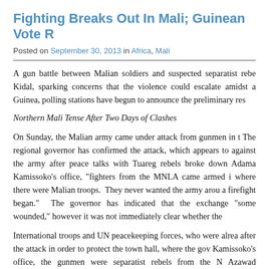Fighting Breaks Out In Mali; Guinean Vote R
Posted on September 30, 2013 in Africa, Mali
A gun battle between Malian soldiers and suspected separatist rebels broke out in Kidal, sparking concerns that the violence could escalate amidst a fragile peace. In Guinea, polling stations have begun to announce the preliminary res
Northern Mali Tense After Two Days of Clashes
On Sunday, the Malian army came under attack from gunmen in the town of Kidal. The regional governor has confirmed the attack, which appears to be a rebel offensive against the army after peace talks with Tuareg rebels broke down. According to Adama Kamissoko's office, "fighters from the MNLA came armed into areas of the city where there were Malian troops. They never wanted the army around them and so a firefight began." The governor has indicated that the exchange of fire resulted in "some wounded," however it was not immediately clear whether the
International troops and UN peacekeeping forces, who were already in Kidal, moved after the attack in order to protect the town hall, where the governor sits. Per Kamissoko's office, the gunmen were separatist rebels from the National Movement for Azawad (MNLA), which is the main Tuareg group that is involved in the peace talks. A by the MNLA has accused Malian troops of "flagrant aggression" in